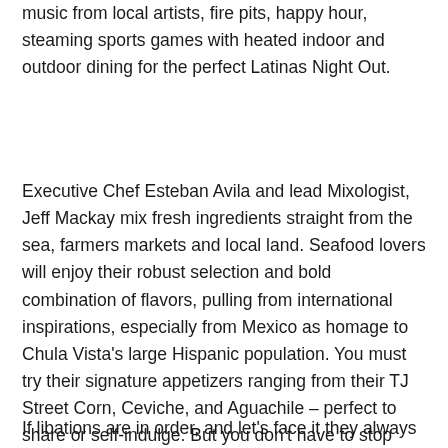music from local artists, fire pits, happy hour, steaming sports games with heated indoor and outdoor dining for the perfect Latinas Night Out.
Executive Chef Esteban Avila and lead Mixologist, Jeff Mackay mix fresh ingredients straight from the sea, farmers markets and local land. Seafood lovers will enjoy their robust selection and bold combination of flavors, pulling from international inspirations, especially from Mexico as homage to Chula Vista's large Hispanic population. You must try their signature appetizers ranging from their TJ Street Corn, Ceviche, and Aguachile – perfect to share or self-indulge. But you don't have to stop there, S&M has something for everyone. For a hearty entrée you can go for their succulent signature steaks or their aromatic pasta & risotto.
If libations are in order, and let's face it they always are,